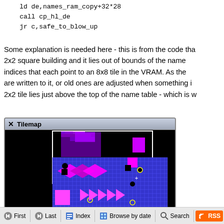ld de,names_ram_copy+32*28
    call cp_hl_de
    jr c,safe_to_blow_up
Some explanation is needed here - this is from the code tha... 2x2 square building and it lies out of bounds of the name... indices that each point to an 8x8 tile in the VRAM. As the... are written to it, or old ones are adjusted when something i... 2x2 tile lies just above the top of the name table - which is w...
[Figure (screenshot): Tilemap window showing a pixel-art game tilemap with purple/magenta colored character sprite on black background. A white rectangle selection box is visible on the upper portion of the image. The tilemap shows a detailed tile-based game scene.]
First  Last  Index  Browse by date  Search  RSS